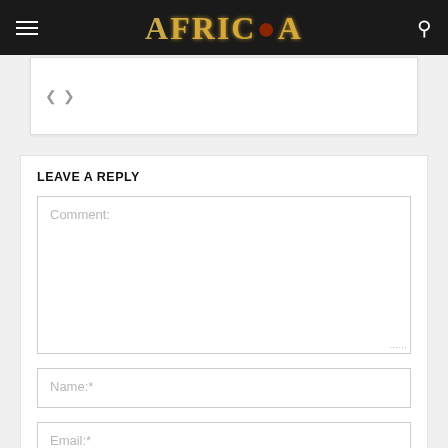AFRICA
[Figure (screenshot): Slider/carousel strip with back and forward navigation arrows]
LEAVE A REPLY
Comment:
Name:*
Email:*